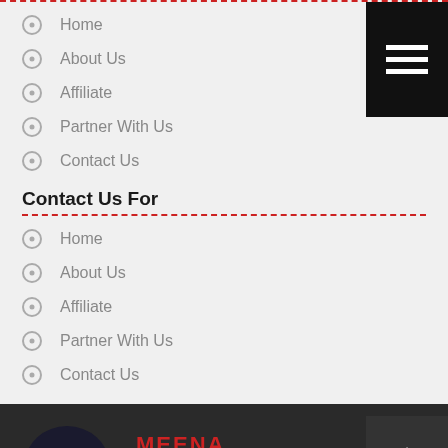Home
About Us
Affiliate
Partner With Us
Contact Us
Contact Us For
Home
About Us
Affiliate
Partner With Us
Contact Us
[Figure (logo): Meena Infotech logo with stylized Mi letters and tagline Technical Service Provider & Consultant]
Home
About Us